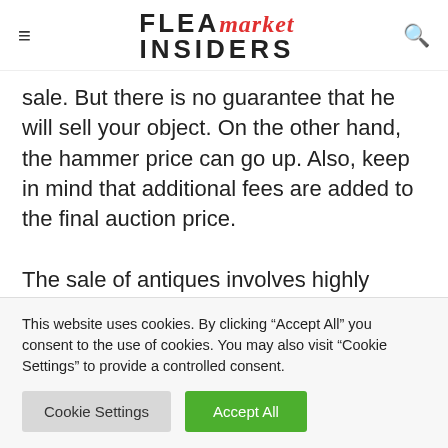FLEA market INSIDERS
sale. But there is no guarantee that he will sell your object. On the other hand, the hammer price can go up. Also, keep in mind that additional fees are added to the final auction price.
The sale of antiques involves highly variable fees depending on the channel used (in %):
This website uses cookies. By clicking "Accept All" you consent to the use of cookies. You may also visit "Cookie Settings" to provide a controlled consent.